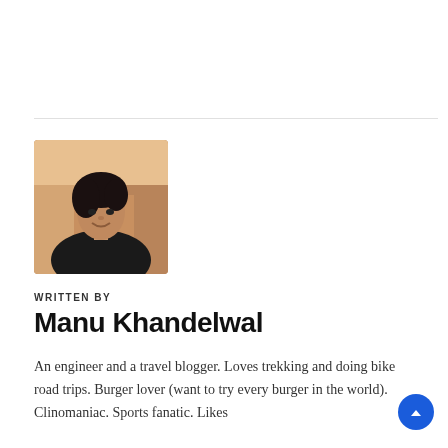[Figure (photo): Portrait photo of Manu Khandelwal, a young man smiling, dark hair, wearing dark clothing, outdoor urban background with warm lighting]
WRITTEN BY
Manu Khandelwal
An engineer and a travel blogger. Loves trekking and doing bike road trips. Burger lover (want to try every burger in the world). Clinomaniac. Sports fanatic. Likes